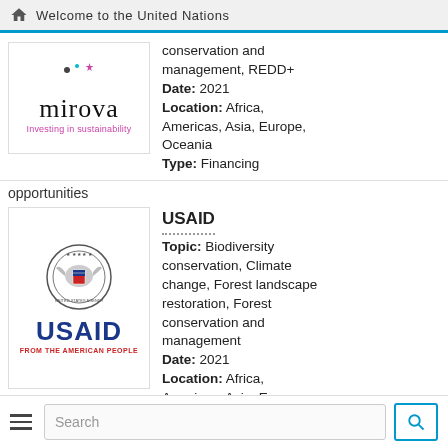Welcome to the United Nations
[Figure (logo): Mirova logo with text 'mirova Investing in sustainability']
conservation and management, REDD+
Date: 2021
Location: Africa, Americas, Asia, Europe, Oceania
Type: Financing
opportunities
[Figure (logo): USAID logo with eagle seal and text 'USAID FROM THE AMERICAN PEOPLE']
USAID
Topic: Biodiversity conservation, Climate change, Forest landscape restoration, Forest conservation and management
Date: 2021
Location: Africa, Americas, Asia, Europe,
Search